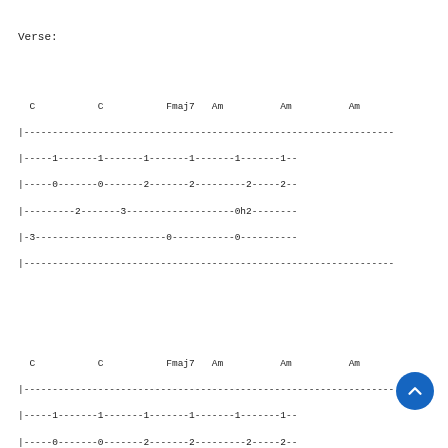Verse:
C           C           Fmaj7   Am          Am          Am
|-------------------------------------------------------------------
|-----1-------1-------1-------1-------1-------1--
|-----0-------0-------2-------2---------2-----2--
|---------2-------3-----------0h2-----------
|-3-----------------------0-----------0-----
|-------------------------------------------------------------------
C           C           Fmaj7   Am          Am          Am
|-------------------------------------------------------------------
|-----1-------1-------1-------1-------1-------1--
|-----0-------0-------2-------2---------2-----2--
|---------2-------3-----------0h2-----------
|-3-----------------------0-----------0-----
|-------------------------------------------------------------------
C           C           Fmaj7   Am          C           C
|-------------------------------------------------------------------
|-----1-------1-------1-------1-------1-------1--
|-----0-------0-------2-------2-------0--------0--
|---------2-------3----------------------------2--
|-3-----------------------0-------3-----------